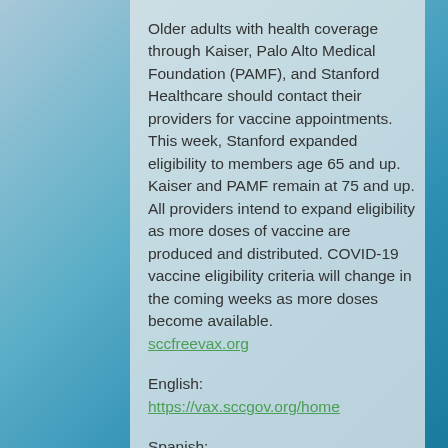Older adults with health coverage through Kaiser, Palo Alto Medical Foundation (PAMF), and Stanford Healthcare should contact their providers for vaccine appointments. This week, Stanford expanded eligibility to members age 65 and up. Kaiser and PAMF remain at 75 and up. All providers intend to expand eligibility as more doses of vaccine are produced and distributed. COVID-19 vaccine eligibility criteria will change in the coming weeks as more doses become available. sccfreevax.org
English: https://vax.sccgov.org/home
Spanish: https://vax.sccgov.org/home-es